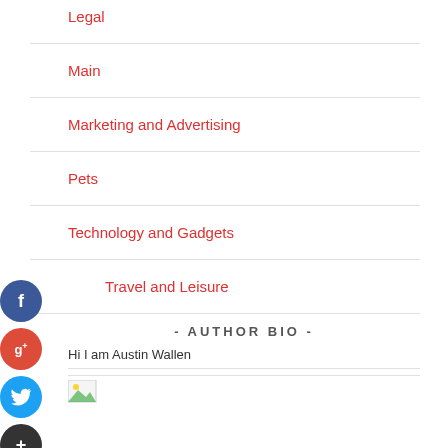Legal
Main
Marketing and Advertising
Pets
Technology and Gadgets
Travel and Leisure
- AUTHOR BIO -
Hi I am Austin Wallen
[Figure (illustration): Social media share buttons: Facebook (blue circle with f), Google+ (red circle with g+), Twitter (blue circle with bird icon), Add/Plus (dark circle with +)]